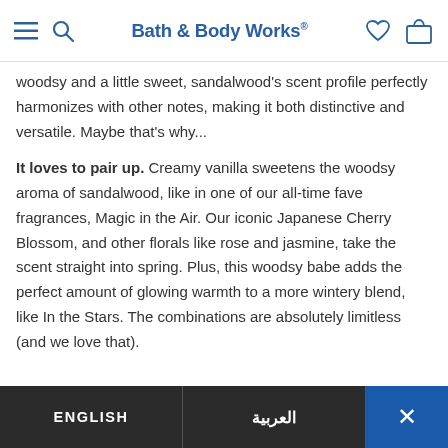Bath & Body Works
woodsy and a little sweet, sandalwood's scent profile perfectly harmonizes with other notes, making it both distinctive and versatile. Maybe that's why...
It loves to pair up. Creamy vanilla sweetens the woodsy aroma of sandalwood, like in one of our all-time fave fragrances, Magic in the Air. Our iconic Japanese Cherry Blossom, and other florals like rose and jasmine, take the scent straight into spring. Plus, this woodsy babe adds the perfect amount of glowing warmth to a more wintery blend, like In the Stars. The combinations are absolutely limitless (and we love that).
ENGLISH | العربية | X